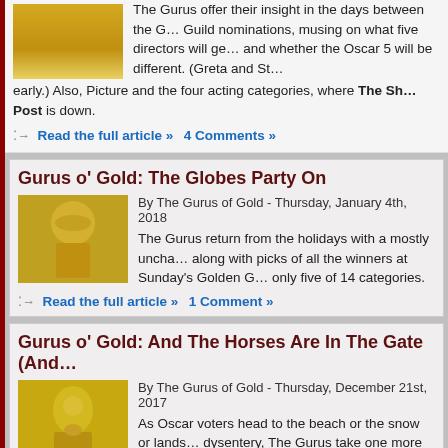The Gurus offer their insight in the days between the Guild nominations, musing on what five directors will ge... and whether the Oscar 5 will be different. (Greta and St... early.) Also, Picture and the four acting categories, where The Sh... Post is down.
Read the full article » 4 Comments »
Gurus o' Gold: The Globes Party On
By The Gurus of Gold - Thursday, January 4th, 2018
The Gurus return from the holidays with a mostly uncha... along with picks of all the winners at Sunday's Golden G... only five of 14 categories.
Read the full article » 1 Comment »
Gurus o' Gold: And The Horses Are In The Gate (And...
By The Gurus of Gold - Thursday, December 21st, 2017
As Oscar voters head to the beach or the snow or lands... dysentery, The Gurus take one more look at Best Pictur... Screenplay, Also, some suggestions about which DVDs... you and fill your happy holiday nights. Even better, find a movie t... a ticket. You can afford it… you just got a big tax break! Happy, h... Gold.
Read the full article » 6 Comments »